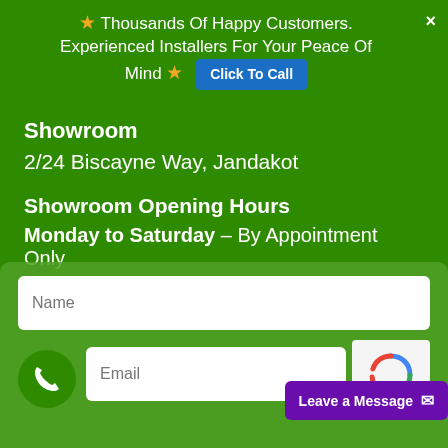★ Thousands Of Happy Customers. Experienced Installers For Your Peace Of Mind ★  [Click To Call]  ×
Showroom
2/24 Biscayne Way, Jandakot
Showroom Opening Hours
Monday to Saturday – By Appointment Only
Sunday – CLOSED
Name (form input)
Email (form input)
Leave a Message ✉
[Figure (other): reCAPTCHA widget partial view]